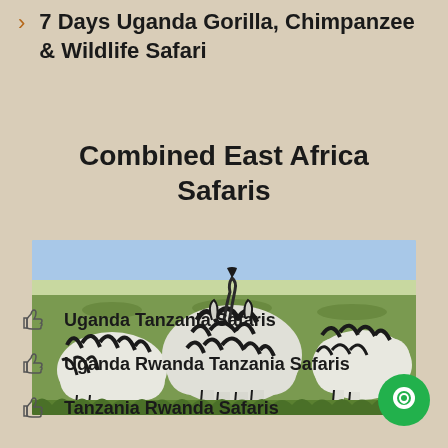7 Days Uganda Gorilla, Chimpanzee & Wildlife Safari
Combined East Africa Safaris
[Figure (photo): Zebras and wildebeest herd viewed from behind on an African savanna grassland]
Uganda Tanzania Safaris
Uganda Rwanda Tanzania Safaris
Tanzania Rwanda Safaris